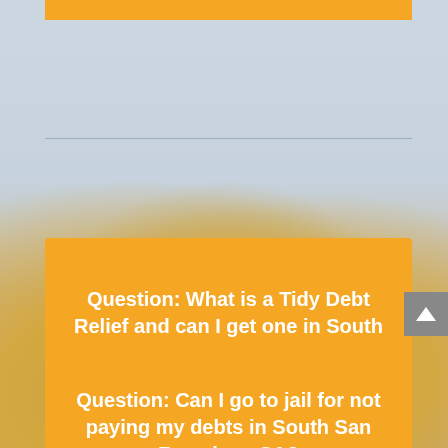[Figure (other): Orange bar at the top of the page section, decorative header element]
Question: What is a Tidy Debt Relief and can I get one in South San Francisco CA?
Question: Can I go to jail for not paying my debts in South San Francisco CA?